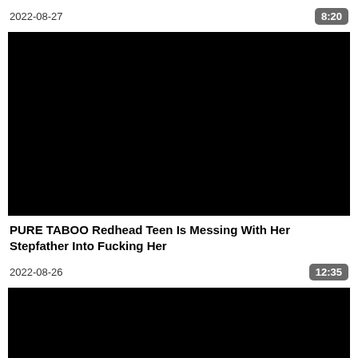2022-08-27
8:20
[Figure (photo): Black video thumbnail placeholder]
PURE TABOO Redhead Teen Is Messing With Her Stepfather Into Fucking Her
2022-08-26
12:35
[Figure (photo): Black video thumbnail placeholder (partial)]